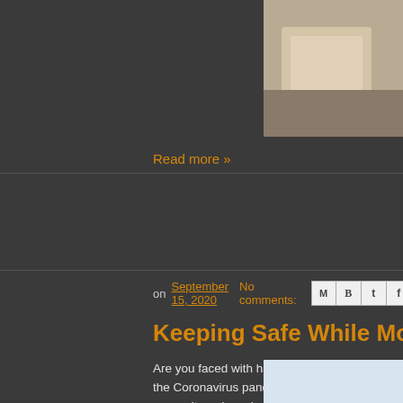[Figure (photo): Photo of a cardboard box in upper right corner]
Read more »
on September 15, 2020  No comments:
[Figure (infographic): Social share icons: Gmail, Blogger, Twitter, Facebook, Pinterest]
Keeping Safe While Moving During Co
Are you faced with having to move during the Coronavirus pandemic? Not all moves can wait, and we don't always have control over schedules. It may not be ideal, but fortunately, there are several ways that you and local moving companies in St. Louis can help keep everyone healthier while moving during the Coronavirus pandemic.
[Figure (photo): Person wearing blue gloves wiping a surface, COVID safety precautions]